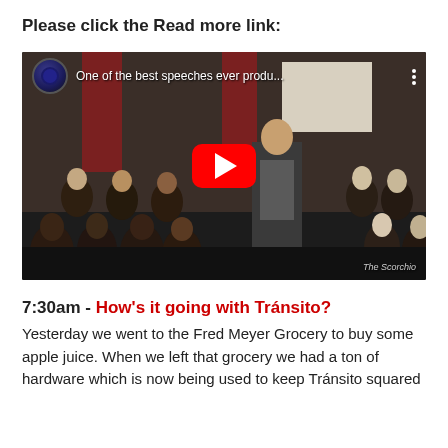Please click the Read more link:
[Figure (screenshot): YouTube video embed showing a classroom scene with a speaker addressing students. Title reads 'One of the best speeches ever produ...' with a red YouTube play button in the center. Watermark 'The Scorchio' visible in bottom right.]
7:30am - How's it going with Tránsito?
Yesterday we went to the Fred Meyer Grocery to buy some apple juice. When we left that grocery we had a ton of hardware which is now being used to keep Tránsito squared